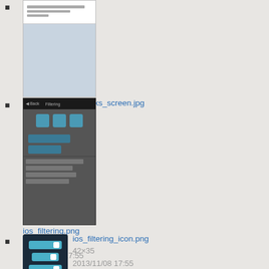[Figure (screenshot): Thumbnail of ios_exlcude_networks_screen.jpg - white form-like iOS screen]
ios_exlcude_networks_screen.jpg
750×1334
2015/04/07 22:42
67.3 KB
[Figure (screenshot): Thumbnail of ios_filtering.png - dark iOS settings screen with icons and list]
ios_filtering.png
640×1136
2014/10/30 17:55
92.3 KB
[Figure (screenshot): Thumbnail of ios_filtering_icon.png - dark icon with slider bars]
ios_filtering_icon.png
42×35
2013/11/08 17:55